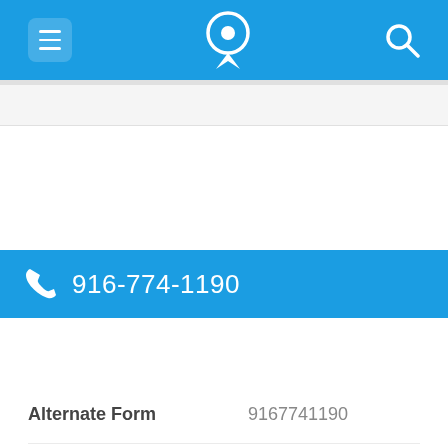[Figure (screenshot): Mobile app top navigation bar with menu icon, phone/location logo icon, and search icon on blue background]
916-774-1190
| Field | Value |
| --- | --- |
| Alternate Form | 9167741190 |
| Caller name | 3 Listings found |
| Last User Search | No searches yet |
| Comments |  |
916-774-1127
Shares